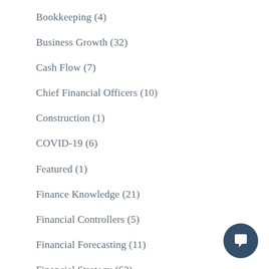Bookkeeping (4)
Business Growth (32)
Cash Flow (7)
Chief Financial Officers (10)
Construction (1)
COVID-19 (6)
Featured (1)
Finance Knowledge (21)
Financial Controllers (5)
Financial Forecasting (11)
Financial Strategy (62)
Financial Systems (14)
Fractional CFO Services (12)